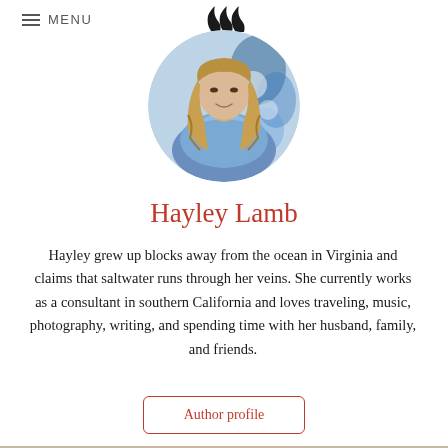≡ MENU
[Figure (logo): Three black flame/leaf shapes arranged side by side as a site logo]
[Figure (photo): Circular profile photo of Hayley Lamb, a woman with long blonde hair wearing a blue off-shoulder sweater, photographed in front of a blue and white floral background]
Hayley Lamb
Hayley grew up blocks away from the ocean in Virginia and claims that saltwater runs through her veins. She currently works as a consultant in southern California and loves traveling, music, photography, writing, and spending time with her husband, family, and friends.
Author profile
[Figure (photo): Partial view of a light beige/tan fabric or textile with soft creases, bottom portion of the page]